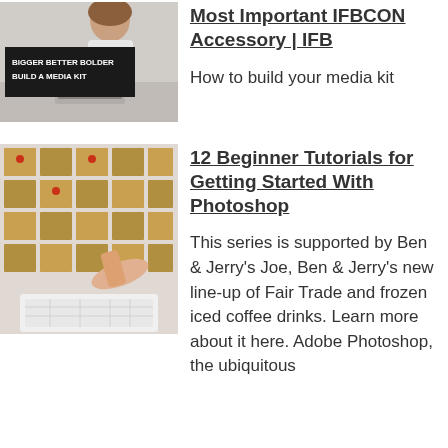[Figure (photo): Woman working on laptop with text overlay reading 'BIGGER BETTER BOLDER BUILD A MEDIA KIT']
Most Important IFBCON Accessory | IFB
How to build your media kit
[Figure (photo): Hands pointing at photo contact sheets on a keyboard]
12 Beginner Tutorials for Getting Started With Photoshop
This series is supported by Ben & Jerry's Joe, Ben & Jerry's new line-up of Fair Trade and frozen iced coffee drinks. Learn more about it here. Adobe Photoshop, the ubiquitous